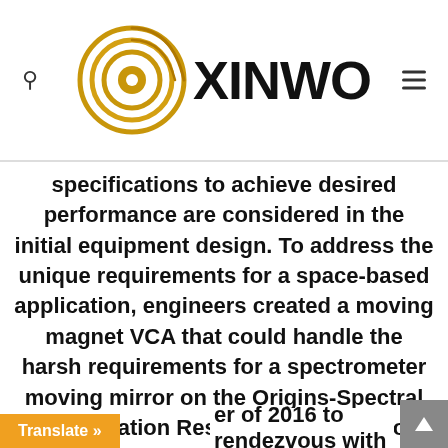[Figure (logo): XINWO logo: a gold circular swirl icon on the left, large bold black text 'XINWO' on the right. Search icon on far left, hamburger menu icon on far right.]
specifications to achieve desired performance are considered in the initial equipment design. To address the unique requirements for a space-based application, engineers created a moving magnet VCA that could handle the harsh requirements for a spectrometer moving mirror on the Origins-Spectral Interpretation Resource Identification Security Regolith Explorer (OSIRIS-Rex) spacecraft. This vessel which launched er of 2016 to rendezvous with